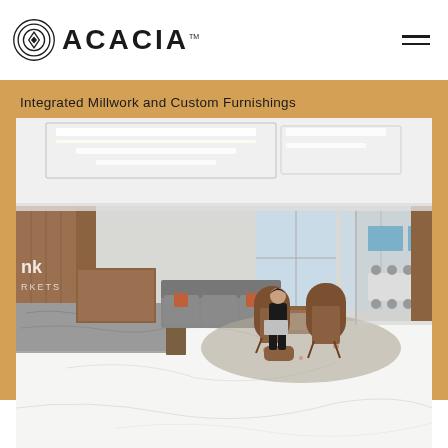ACACIA
Integrated Millwork and Custom Furnishings
[Figure (photo): Interior office space showing a modern corporate lobby with marble floors, a stone reception desk, wood paneling, modern lounge seating in gray and orange, a person seated in a brown high-back chair using a laptop, and a conference room visible in the background. The space features recessed linear ceiling lighting.]